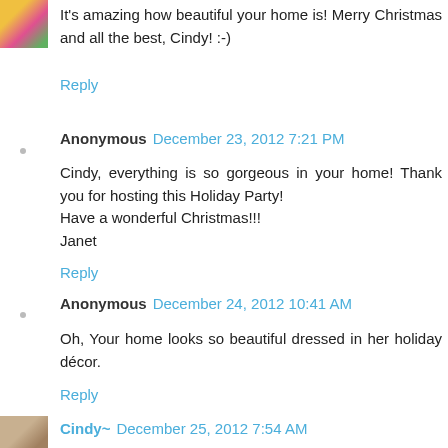[Figure (photo): Small avatar thumbnail showing colorful flowers]
It's amazing how beautiful your home is! Merry Christmas and all the best, Cindy! :-)
Reply
Anonymous December 23, 2012 7:21 PM
Cindy, everything is so gorgeous in your home! Thank you for hosting this Holiday Party!
Have a wonderful Christmas!!!
Janet
Reply
Anonymous December 24, 2012 10:41 AM
Oh, Your home looks so beautiful dressed in her holiday décor.
Reply
[Figure (photo): Small avatar thumbnail showing an animal or pet]
Cindy~ December 25, 2012 7:54 AM